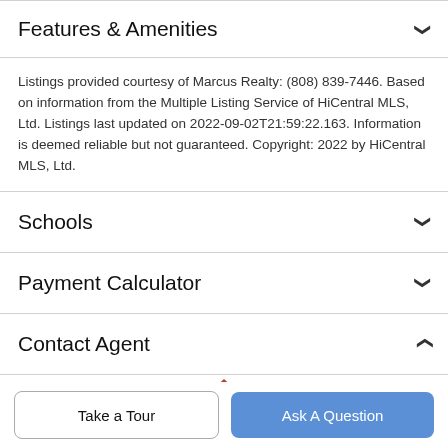Features & Amenities
Listings provided courtesy of Marcus Realty: (808) 839-7446. Based on information from the Multiple Listing Service of HiCentral MLS, Ltd. Listings last updated on 2022-09-02T21:59:22.163. Information is deemed reliable but not guaranteed. Copyright: 2022 by HiCentral MLS, Ltd.
Schools
Payment Calculator
Contact Agent
[Figure (logo): Partial red house/logo icon visible at bottom of contact agent section]
Take a Tour
Ask A Question